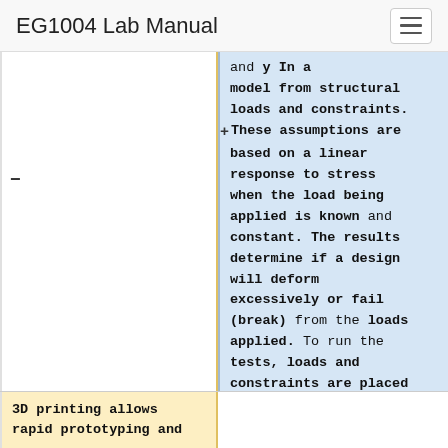EG1004 Lab Manual
model from structural loads and constraints. These assumptions are based on a linear response to stress when the load being applied is known and constant. The results determine if a design will deform excessively or fail (break) from the loads applied. To run the tests, loads and constraints are placed on the model.
3D printing allows rapid prototyping and